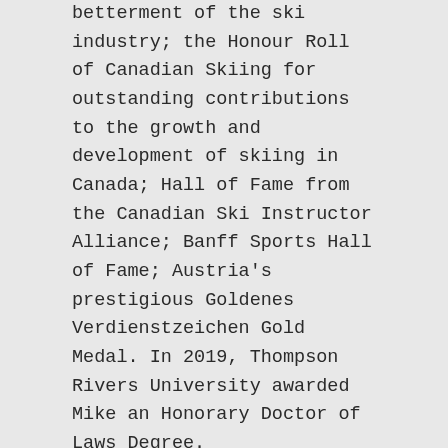betterment of the ski industry; the Honour Roll of Canadian Skiing for outstanding contributions to the growth and development of skiing in Canada; Hall of Fame from the Canadian Ski Instructor Alliance; Banff Sports Hall of Fame; Austria's prestigious Goldenes Verdienstzeichen Gold Medal. In 2019, Thompson Rivers University awarded Mike an Honorary Doctor of Laws Degree.
In 2019, under Mike's leadership, MWHS celebrated its 50th anniversary. In advance of this milestone, Mike hand-picked and trained a management team to lead the company into the next 50 years, ensuring his dream, his passion for safety and his high standard for customer service would continue.
Competitor, coach, pioneer, entrepreneur, husband, father, and man of the mountains. We remember the motto by